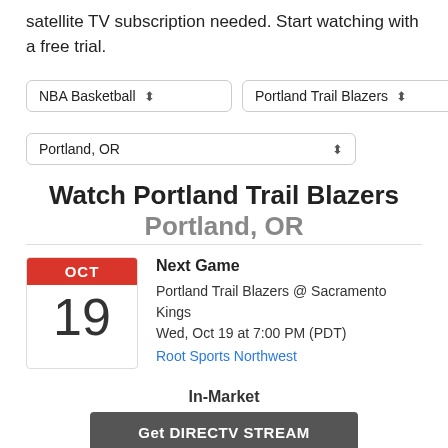satellite TV subscription needed. Start watching with a free trial.
[Figure (screenshot): Dropdown selectors: NBA Basketball, Portland Trail Blazers, Portland OR]
Watch Portland Trail Blazers Portland, OR
Next Game
Portland Trail Blazers @ Sacramento Kings
Wed, Oct 19 at 7:00 PM (PDT)
Root Sports Northwest
In-Market
Get DIRECTV STREAM